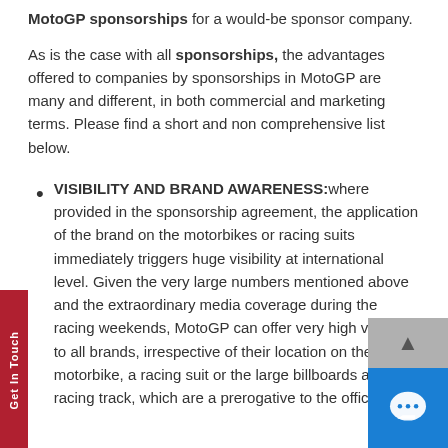MotoGP sponsorships for a would-be sponsor company.
As is the case with all sponsorships, the advantages offered to companies by sponsorships in MotoGP are many and different, in both commercial and marketing terms. Please find a short and non comprehensive list below.
VISIBILITY AND BRAND AWARENESS: where provided in the sponsorship agreement, the application of the brand on the motorbikes or racing suits immediately triggers huge visibility at international level. Given the very large numbers mentioned above and the extraordinary media coverage during the racing weekends, MotoGP can offer very high visibility to all brands, irrespective of their location on the fairing motorbike, a racing suit or the large billboards along racing track, which are a prerogative to the official partners of the World Motor Championship. Visibility